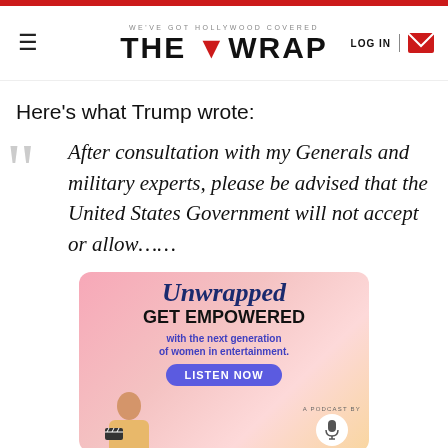THE WRAP — WE'VE GOT HOLLYWOOD COVERED
Here's what Trump wrote:
After consultation with my Generals and military experts, please be advised that the United States Government will not accept or allow......
[Figure (infographic): Unwrapped podcast ad — GET EMPOWERED with the next generation of women in entertainment. LISTEN NOW. A podcast by The Wrap.]